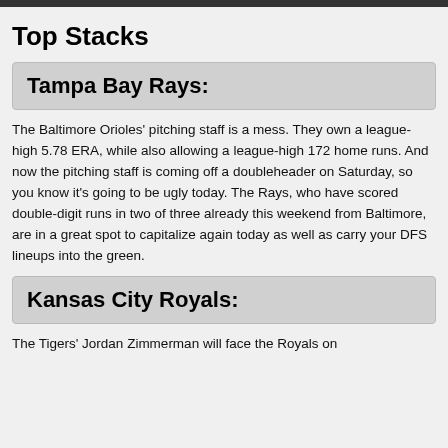Top Stacks
Tampa Bay Rays:
The Baltimore Orioles' pitching staff is a mess. They own a league-high 5.78 ERA, while also allowing a league-high 172 home runs. And now the pitching staff is coming off a doubleheader on Saturday, so you know it's going to be ugly today. The Rays, who have scored double-digit runs in two of three already this weekend from Baltimore, are in a great spot to capitalize again today as well as carry your DFS lineups into the green.
Kansas City Royals:
The Tigers' Jordan Zimmerman will face the Royals on